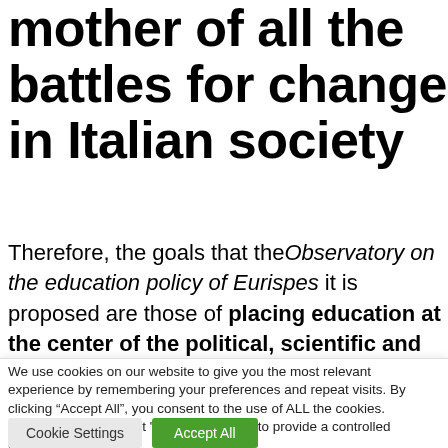mother of all the battles for change in Italian society
Therefore, the goals that the Observatory on the education policy of Eurispes it is proposed are those of placing education at the center of the political, scientific and
We use cookies on our website to give you the most relevant experience by remembering your preferences and repeat visits. By clicking “Accept All”, you consent to the use of ALL the cookies. However, you may visit “Cookie Settings” to provide a controlled consent.